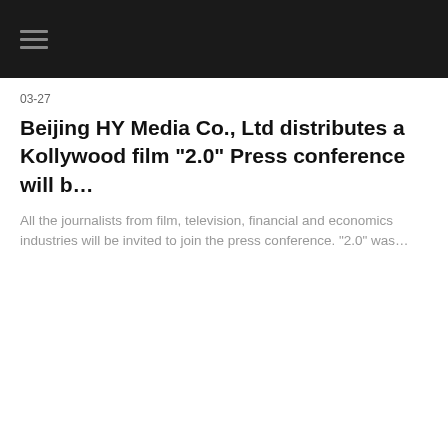03-27
Beijing HY Media Co., Ltd distributes a Kollywood film “2.0” Press conference will b…
All the journalists from film, television, financial and economics industries will be invited to join the press conference. “2.0” was…
03-27
2.0 press conference will be held in the Mandarin…